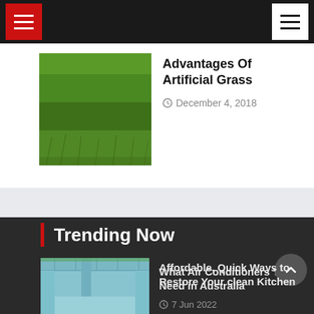Navigation bar with hamburger menus
[Figure (photo): Green artificial grass lawn thumbnail image]
Advantages Of Artificial Grass
December 4, 2018
Trending Now
[Figure (photo): Air conditioners stacked against graffiti wall thumbnail]
What Air Conditioners You Need in Australia
7 Jun 2022
[Figure (photo): Kitchen interior with tiled ceiling thumbnail]
Affordable, Quick Ways to Restore Your clean Kitchen